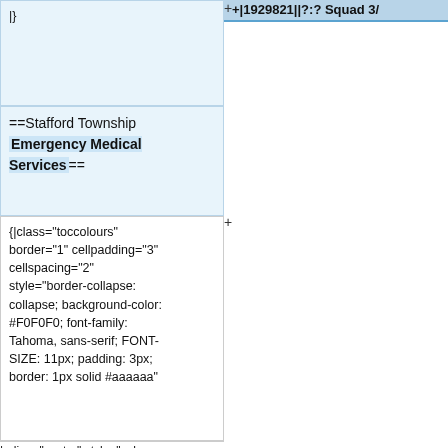|}
+|1929821||?:? Squad 3/
|}
==Stafford Township Emergency Medical Services==
–
==Stafford Township First Aid Squad==
–
{|class="toccolours" border="1" cellpadding="3" cellspacing="2" style="border-collapse: collapse; background-color: #F0F0F0; font-family: Tahoma, sans-serif; FONT-SIZE: 11px; padding: 3px; border: 1px solid #aaaaaa"
{|class="toccolours" border="1" cellpadding="3" cellspacing="2" style="border-collapse: collapse; background-color: #F0F0F0; font-family: Tahoma, sans-serif; FONT-SIZE: 11px; padding: 3px; border: 1px solid #aaaaaa"
|-align="center" style="color:
|-align="center" style="color: